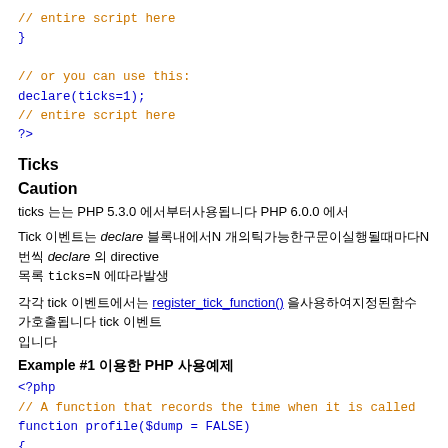// entire script here
}

// or you can use this:
declare(ticks=1);
// entire script here
?>
Ticks
Caution
ticks 는 PHP 5.3.0 에서부터사용됩니다 PHP 6.0.0 에서
Tick 이벤트는 declare 블록내에서N 개의틱가능한구문이실행될때마다N 번씩 declare 의 directive 목록 ticks=N 에따라발생
각각 tick 이벤트에서는 register_tick_function() 을사용하여지정된함수가호출됩니다 tick 이벤트 입니다
Example #1 이용한 PHP 사용예제
<?php
// A function that records the time when it is called
function profile($dump = FALSE)
{
    static $profile;